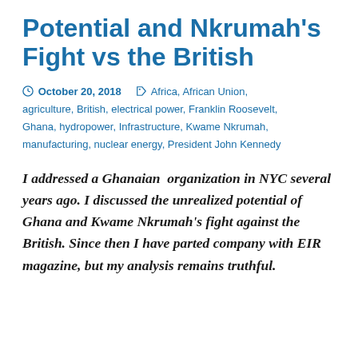Potential and Nkrumah's Fight vs the British
October 20, 2018   Africa, African Union, agriculture, British, electrical power, Franklin Roosevelt, Ghana, hydropower, Infrastructure, Kwame Nkrumah, manufacturing, nuclear energy, President John Kennedy
I addressed a Ghanaian organization in NYC several years ago. I discussed the unrealized potential of Ghana and Kwame Nkrumah's fight against the British. Since then I have parted company with EIR magazine, but my analysis remains truthful.